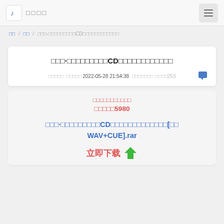♪ □□□□
□□ / □□ / □□□-□□□□□□□□□CD□□□□□□□□□□□□
□□□·□□□□□□□□□CD□□□□□□□□□□□□
□□□□□ □□□□□2022-05-28 21:54:38 □□□□□□□ □□□□253
□□□□□□□□□□□
□□□□□5980
□□□·□□□□□□□□□CD□□□□□□□□□□□□□[□□WAV+CUE].rar
立即下载